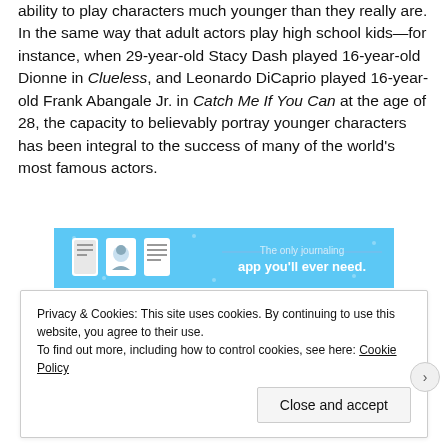ability to play characters much younger than they really are. In the same way that adult actors play high school kids—for instance, when 29-year-old Stacy Dash played 16-year-old Dionne in Clueless, and Leonardo DiCaprio played 16-year-old Frank Abangale Jr. in Catch Me If You Can at the age of 28, the capacity to believably portray younger characters has been integral to the success of many of the world's most famous actors.
[Figure (other): Advertisement banner for a journaling app with blue background, icons of a book, person, and document, with text 'The only journaling app you'll ever need.']
Privacy & Cookies: This site uses cookies. By continuing to use this website, you agree to their use.
To find out more, including how to control cookies, see here: Cookie Policy
Close and accept